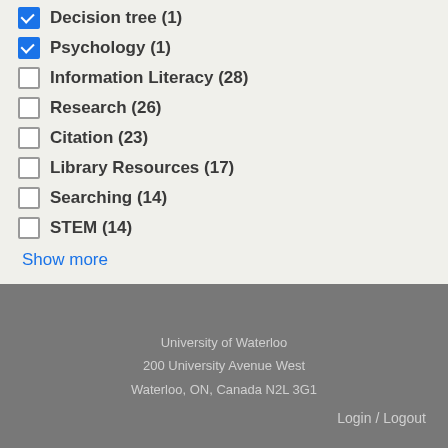Decision tree (1) [checked]
Psychology (1) [checked]
Information Literacy (28)
Research (26)
Citation (23)
Library Resources (17)
Searching (14)
STEM (14)
Show more
University of Waterloo
200 University Avenue West
Waterloo, ON, Canada N2L 3G1
Login / Logout